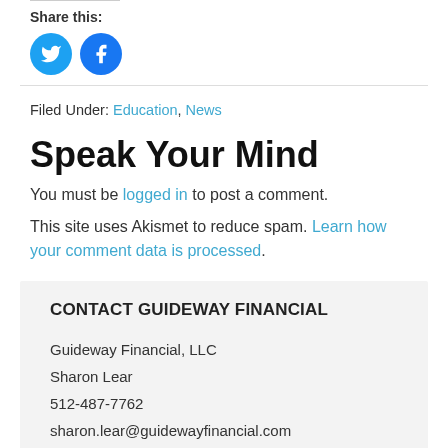Share this:
[Figure (other): Twitter and Facebook circular social share icons in blue]
Filed Under: Education, News
Speak Your Mind
You must be logged in to post a comment.
This site uses Akismet to reduce spam. Learn how your comment data is processed.
CONTACT GUIDEWAY FINANCIAL
Guideway Financial, LLC
Sharon Lear
512-487-7762
sharon.lear@guidewayfinancial.com